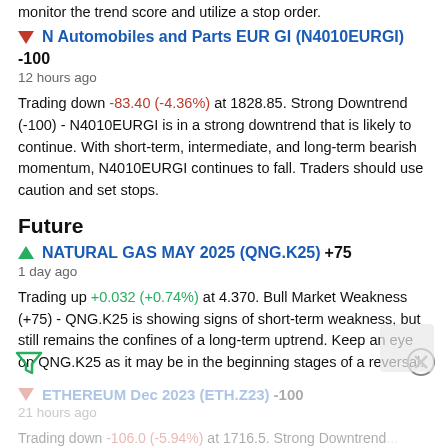monitor the trend score and utilize a stop order.
N Automobiles and Parts EUR GI (N4010EURGI) -100
12 hours ago
Trading down -83.40 (-4.36%) at 1828.85. Strong Downtrend (-100) - N4010EURGI is in a strong downtrend that is likely to continue. With short-term, intermediate, and long-term bearish momentum, N4010EURGI continues to fall. Traders should use caution and set stops.
Future
NATURAL GAS MAY 2025 (QNG.K25) +75
1 day ago
Trading up +0.032 (+0.74%) at 4.370. Bull Market Weakness (+75) - QNG.K25 is showing signs of short-term weakness, but still remains the confines of a long-term uptrend. Keep an eye on QNG.K25 as it may be in the beginning stages of a reversal.
ETHEREUM Dec 2023 (ETH.Z23) -100
21 hours ago
Trading down -106.0 (-5.94%) at 1716.5. Strong Downtrend...